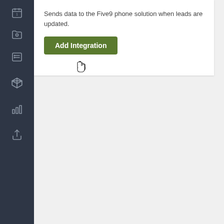Sends data to the Five9 phone solution when leads are updated.
[Figure (screenshot): Green 'Add Integration' button with a hand cursor hovering over it]